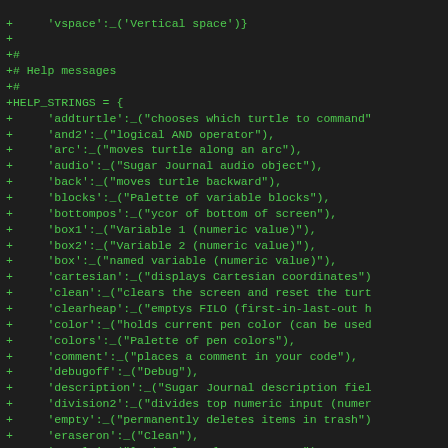+     'vspace':_('Vertical space')}
+
+#
+# Help messages
+#
+HELP_STRINGS = {
+     'addturtle':_("chooses which turtle to command"
+     'and2':_("logical AND operator"),
+     'arc':_("moves turtle along an arc"),
+     'audio':_("Sugar Journal audio object"),
+     'back':_("moves turtle backward"),
+     'blocks':_("Palette of variable blocks"),
+     'bottompos':_("ycor of bottom of screen"),
+     'box1':_("Variable 1 (numeric value)"),
+     'box2':_("Variable 2 (numeric value)"),
+     'box':_("named variable (numeric value)"),
+     'cartesian':_("displays Cartesian coordinates")
+     'clean':_("clears the screen and reset the turt
+     'clearheap':_("emptys FILO (first-in-last-out h
+     'color':_("holds current pen color (can be used
+     'colors':_("Palette of pen colors"),
+     'comment':_("places a comment in your code"),
+     'debugoff':_("Debug"),
+     'description':_("Sugar Journal description fiel
+     'division2':_("divides top numeric input (numer
+     'empty':_("permanently deletes items in trash")
+     'eraseron':_("Clean"),
+     'equal2':_("logical equal-to operator"),
+     'extras':_("Palette of extra options"),
+     'fillscreen':_("fills the background with (colo